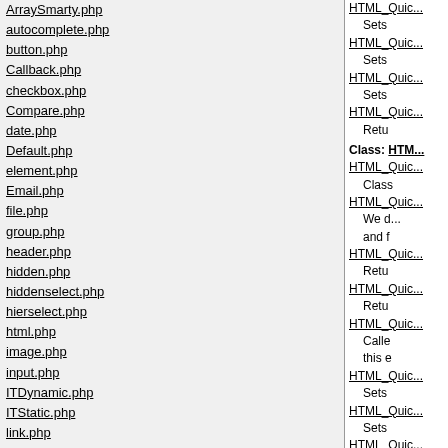ArraySmarty.php
autocomplete.php
button.php
Callback.php
checkbox.php
Compare.php
date.php
Default.php
element.php
Email.php
file.php
group.php
header.php
hidden.php
hiddenselect.php
hierselect.php
html.php
image.php
input.php
ITDynamic.php
ITStatic.php
link.php
Object.php
ObjectFlexy.php
password.php
QuickForm.php
QuickHtml.php
radio.php
Range.php
Regex.php
HTML_Quic... Sets
HTML_Quic... Sets
HTML_Quic... Sets
HTML_Quic... Retu
Class: HTM...
HTML_Quic... Class
HTML_Quic... We d... and f
HTML_Quic... Retu
HTML_Quic... Retu
HTML_Quic... Calle... this e
HTML_Quic... Sets
HTML_Quic... Sets
HTML_Quic... Sets
HTML_Quic...